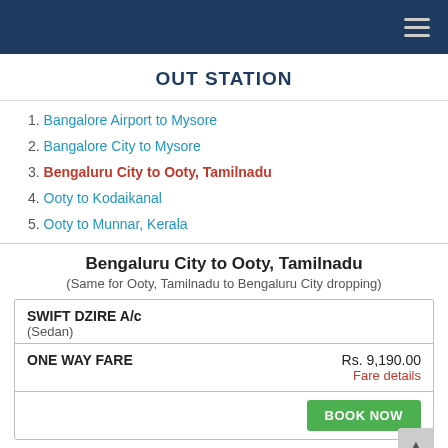OUT STATION navigation header
OUT STATION
1. Bangalore Airport to Mysore
2. Bangalore City to Mysore
3. Bengaluru City to Ooty, Tamilnadu
4. Ooty to Kodaikanal
5. Ooty to Munnar, Kerala
Bengaluru City to Ooty, Tamilnadu
(Same for Ooty, Tamilnadu to Bengaluru City dropping)
| SWIFT DZIRE A/c |  |
| --- | --- |
| (Sedan) |  |
| ONE WAY FARE | Rs. 9,190.00
Fare details |
|  | BOOK NOW |
| TOYOTA ETIOS A/c |  |
| --- | --- |